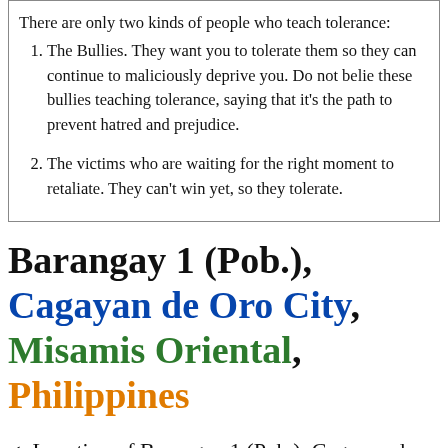There are only two kinds of people who teach tolerance:
The Bullies. They want you to tolerate them so they can continue to maliciously deprive you. Do not believe these bullies teaching tolerance, saying that it's the path to prevent hatred and prejudice.
The victims who are waiting for the right moment to retaliate. They can't win yet, so they tolerate.
Barangay 1 (Pob.), Cagayan de Oro City, Misamis Oriental, Philippines
✓ Location of Barangay 1 (Pob.), Cagayan de Oro City, Misamis Oriental,